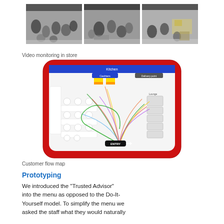[Figure (photo): Three video monitoring screenshots from a store showing overhead CCTV footage of customers in a store]
Video monitoring in store
[Figure (infographic): Customer flow map showing a store layout with colored lines representing customer movement paths, with labels for Kitchen, Cashiers, Delivery point, and ENTRY]
Customer flow map
Prototyping
We introduced the "Trusted Advisor" into the menu as opposed to the Do-It-Yourself model. To simplify the menu we asked the staff what they would naturally